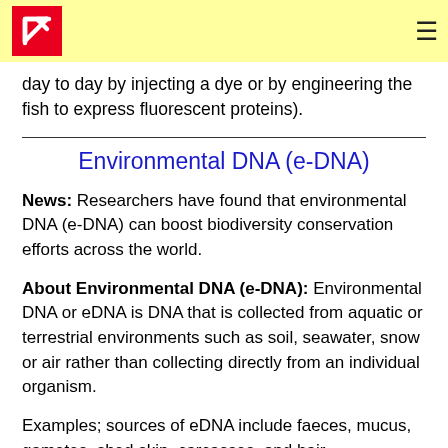[Logo] [Hamburger menu]
day to day by injecting a dye or by engineering the fish to express fluorescent proteins).
Environmental DNA (e-DNA)
News: Researchers have found that environmental DNA (e-DNA) can boost biodiversity conservation efforts across the world.
About Environmental DNA (e-DNA): Environmental DNA or eDNA is DNA that is collected from aquatic or terrestrial environments such as soil, seawater, snow or air rather than collecting directly from an individual organism.
Examples; sources of eDNA include faeces, mucus, gametes, shed skin, carcasses, and hair.